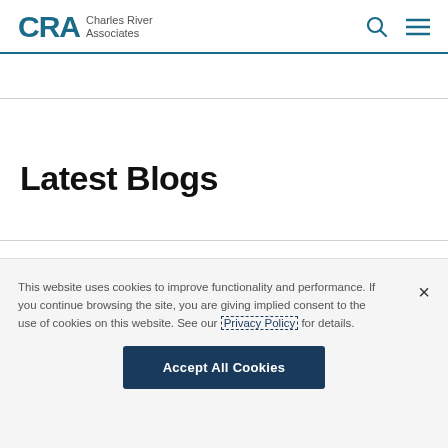CRA Charles River Associates
Latest Blogs
This website uses cookies to improve functionality and performance. If you continue browsing the site, you are giving implied consent to the use of cookies on this website. See our Privacy Policy for details.
Accept All Cookies